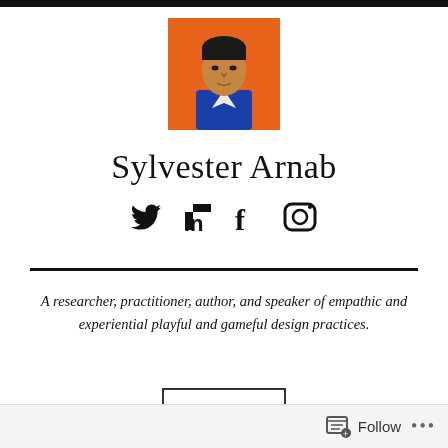[Figure (illustration): Illustrated portrait of a man in a blue jacket on an orange background]
Sylvester Arnab
[Figure (infographic): Social media icons: Twitter, LinkedIn, Facebook, Instagram]
A researcher, practitioner, author, and speaker of empathic and experiential playful and gameful design practices.
Follow   ...